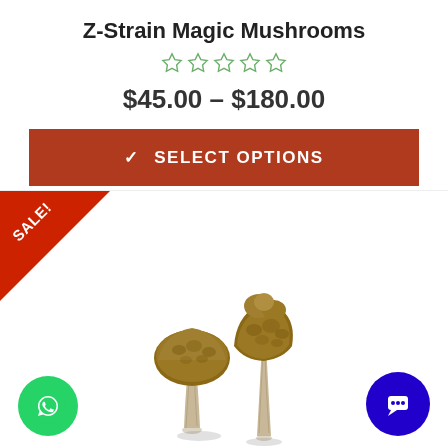Z-Strain Magic Mushrooms
$45.00 – $180.00
SELECT OPTIONS
[Figure (photo): Two dried psilocybin mushrooms (Z-Strain) with brown caps on white background, with a red SALE! corner badge]
[Figure (logo): Green WhatsApp phone icon button in bottom left corner]
[Figure (logo): Blue chat/LiveChat icon button in bottom right corner]